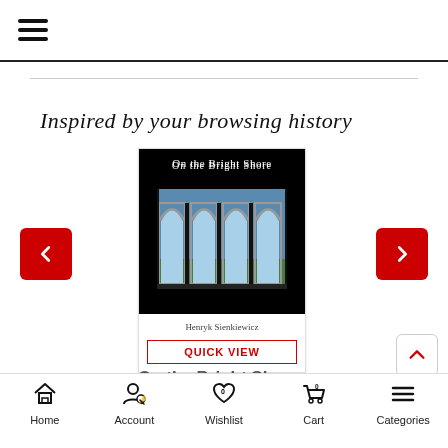☰ (hamburger menu)
Inspired by your browsing history
[Figure (illustration): Book cover of 'On the Bright Shore' by Henryk Sienkiewicz, showing arched windows with a landscape view on a black background]
QUICK VIEW
On the Bright Shore
Home  Account  Wishlist  Cart  Categories